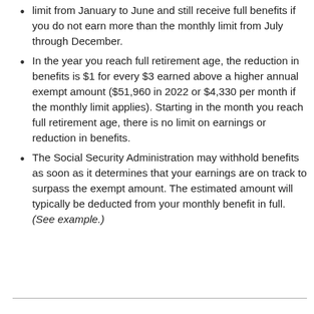limit from January to June and still receive full benefits if you do not earn more than the monthly limit from July through December.
In the year you reach full retirement age, the reduction in benefits is $1 for every $3 earned above a higher annual exempt amount ($51,960 in 2022 or $4,330 per month if the monthly limit applies). Starting in the month you reach full retirement age, there is no limit on earnings or reduction in benefits.
The Social Security Administration may withhold benefits as soon as it determines that your earnings are on track to surpass the exempt amount. The estimated amount will typically be deducted from your monthly benefit in full. (See example.)